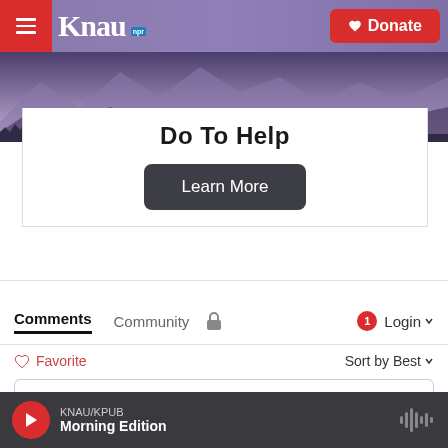KNAU NPR / Donate
[Figure (screenshot): KNAU NPR website header with mountain landscape background, hamburger menu button on left, KNAU logo, and red Donate button on right]
Do To Help
Learn More
Comments
Community
Login
Favorite
Sort by Best
Start the discussion...
LOG IN WITH
KNAU/KPUB Morning Edition